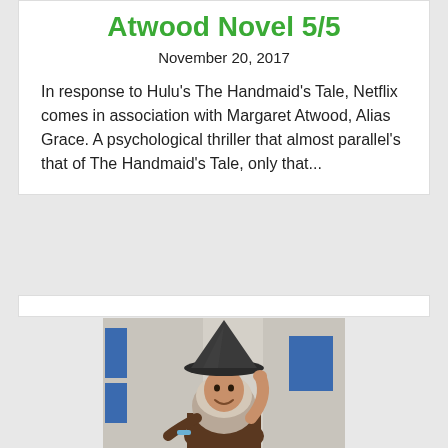Atwood Novel 5/5
November 20, 2017
In response to Hulu's The Handmaid's Tale, Netflix comes in association with Margaret Atwood, Alias Grace. A psychological thriller that almost parallel's that of The Handmaid's Tale, only that...
[Figure (photo): A person wearing a hijab and a witch hat, smiling, seated in an indoor office environment with blue posters/signs visible on the wall behind them.]